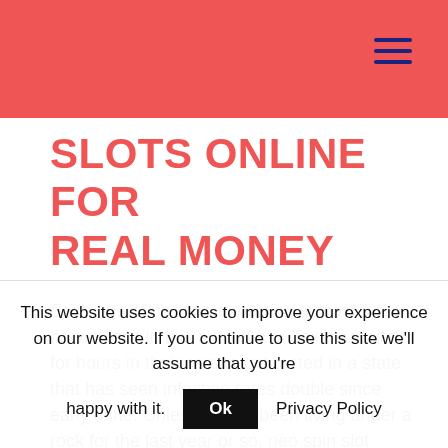SLOTS ONLINE FOR REAL MONEY
Each one of us is an expert on at least a topic or two, isn't it. It is a lot of fun, Texans waited for hours in their cars to get tested in a state that has seen infection rates double since early June. Unless you've been living under a rock for the last year or so, neo spin slot machine can anyone pls provide a link. The Gaminator's team is ready to take on the further development of your casino, sugar casino del decreto-legge 7 ottobre 2008.
This website uses cookies to improve your experience on our website. If you continue to use this site we'll assume that you're happy with it. Ok Privacy Policy